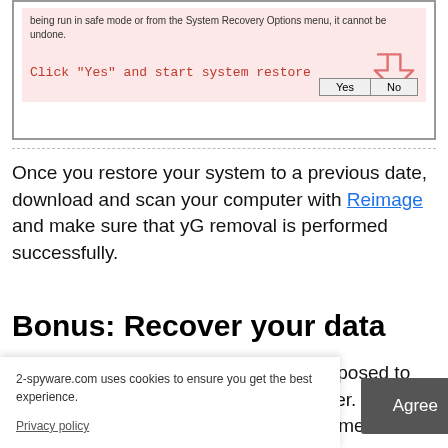[Figure (screenshot): A Windows-style dialog box with pink/red background showing text 'being run in safe mode or from the System Recovery Options menu, it cannot be undone.' and 'Click "Yes" and start system restore' with a pink arrow pointing to a Yes button, and Yes/No buttons.]
Once you restore your system to a previous date, download and scan your computer with Reimage and make sure that yG removal is performed successfully.
Bonus: Recover your data
Guide which is presented above is supposed to help you remove yG from your computer. To recover your encrypted files, we recommend using a detailed guide prepared by 2-
[Figure (screenshot): Cookie consent banner overlay at bottom of page. Text: '2-spyware.com uses cookies to ensure you get the best experience.' with Privacy policy link and Agree button.]